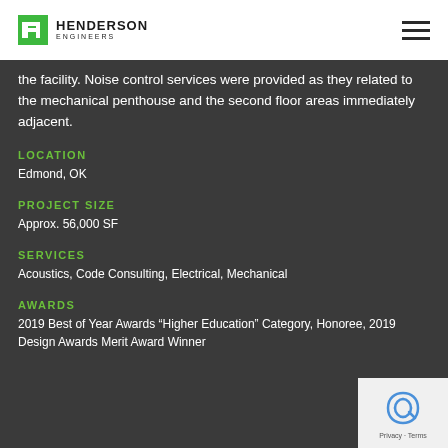Henderson Engineers
the facility. Noise control services were provided as they related to the mechanical penthouse and the second floor areas immediately adjacent.
LOCATION
Edmond, OK
PROJECT SIZE
Approx. 56,000 SF
SERVICES
Acoustics, Code Consulting, Electrical, Mechanical
AWARDS
2019 Best of Year Awards “Higher Education” Category, Honoree, 2019 Design Awards Merit Award Winner